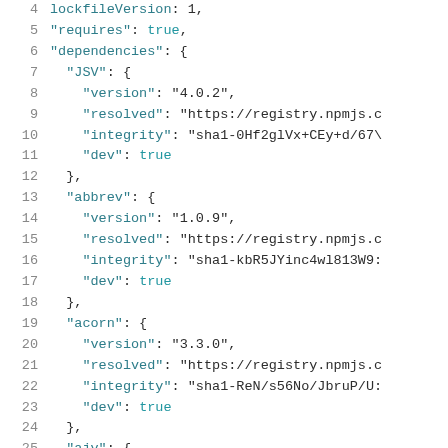Code snippet showing package-lock.json content, lines 4-26, including lockfileVersion, requires, dependencies for JSV, abbrev, acorn, and ajv packages.